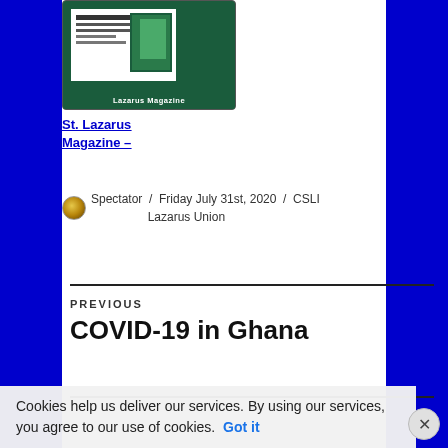[Figure (logo): Lazarus Magazine logo - dark green rounded rectangle with newspaper icon and white text 'Lazarus Magazine']
St. Lazarus Magazine –
Spectator / Friday July 31st, 2020 / CSLI Lazarus Union
Previous
COVID-19 in Ghana
Cookies help us deliver our services. By using our services, you agree to our use of cookies. Got it